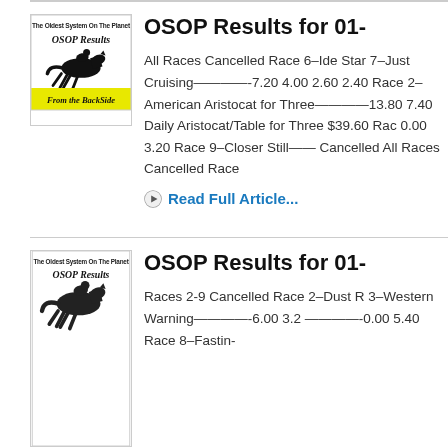[Figure (logo): OSOP horse racing logo - The Oldest System On The Planet, OSOP Results, From the BackSide]
OSOP Results for 01-
All Races Cancelled Race 6–Ide Star 7–Just Cruising————-7.20 4.00 2.60 2.40 Race 2–American Aristocat for Three————13.80 7.40 Daily Aristocat/Table for Three $39.60 Rac 0.00 3.20 Race 9–Closer Still—— Cancelled All Races Cancelled Race
Read Full Article...
[Figure (logo): OSOP horse racing logo - The Oldest System On The Planet, OSOP Results (second instance, partial)]
OSOP Results for 01-
Races 2-9 Cancelled Race 2–Dust R 3–Western Warning————-6.00 3.2 ————-0.00 5.40 Race 8–Fastin-